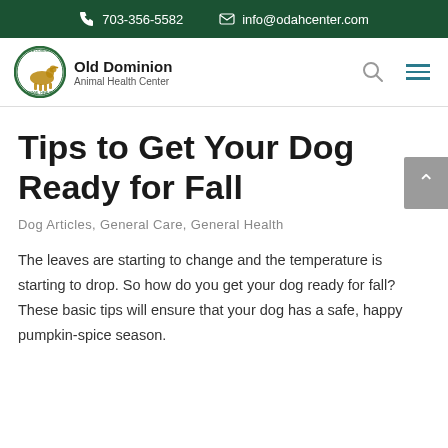703-356-5582  info@odahcenter.com
[Figure (logo): Old Dominion Animal Health Center logo — circular green emblem with a dog silhouette and the text Old Dominion Animal Health Center]
Tips to Get Your Dog Ready for Fall
Dog Articles, General Care, General Health
The leaves are starting to change and the temperature is starting to drop. So how do you get your dog ready for fall? These basic tips will ensure that your dog has a safe, happy pumpkin-spice season.